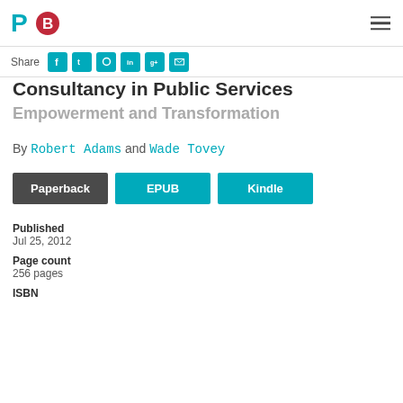P [logo] B [logo] [hamburger menu]
Share [social icons: Facebook, Twitter, Google+, LinkedIn, Google+, Email]
Consultancy in Public Services
Empowerment and Transformation
By Robert Adams and Wade Tovey
Paperback   EPUB   Kindle
Published
Jul 25, 2012
Page count
256 pages
ISBN